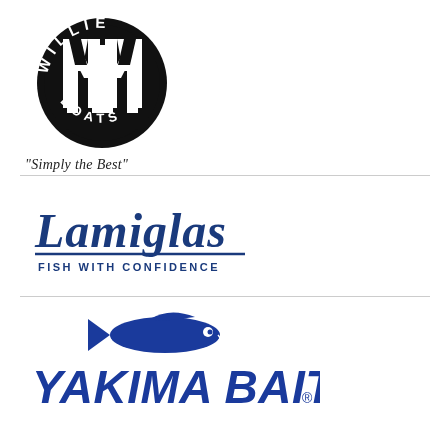[Figure (logo): Willie Boats circular logo with stylized W and text 'WILLIE' arched on top and 'BOATS' on bottom, with tagline 'Simply the Best' below]
[Figure (logo): Lamiglas logo in dark blue italic script font with underline and tagline 'FISH WITH CONFIDENCE' below]
[Figure (logo): Yakima Bait logo in dark blue bold italic font with a fish silhouette above the text]